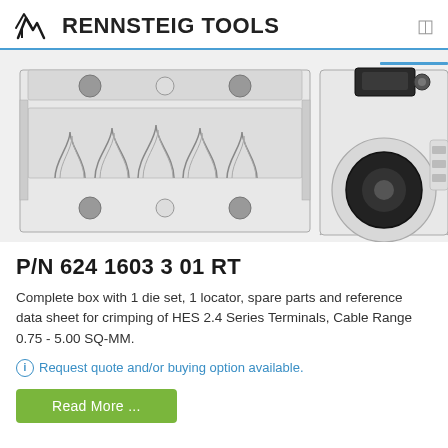RENNSTEIG TOOLS
[Figure (engineering-diagram): Two engineering diagrams of crimping die sets: left shows a rectangular die insert with multiple crimping profiles and circular mounting holes, right shows a circular crimping head/locator with a large black bolt/fastener]
P/N 624 1603 3 01 RT
Complete box with 1 die set, 1 locator, spare parts and reference data sheet for crimping of HES 2.4 Series Terminals, Cable Range 0.75 - 5.00 SQ-MM.
Request quote and/or buying option available.
Read More ...